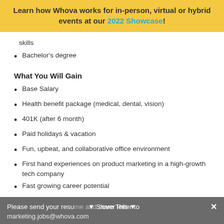Learn how Whova works for in-person, virtual or hybrid events at our 2022 Showcase!
skills
Bachelor's degree
What You Will Gain
Base Salary
Health benefit package (medical, dental, vision)
401K (after 6 month)
Paid holidays & vacation
Fun, upbeat, and collaborative office environment
First hand experiences on product marketing in a high-growth tech company
Fast growing career potential
How to Apply
Please send your resume and cover letter to marketing.jobs@whova.com